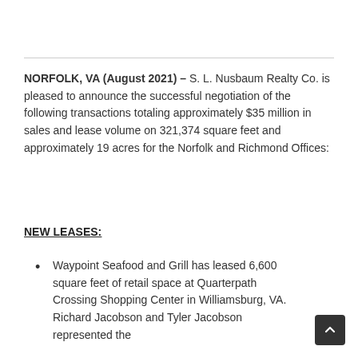NORFOLK, VA (August 2021) – S. L. Nusbaum Realty Co. is pleased to announce the successful negotiation of the following transactions totaling approximately $35 million in sales and lease volume on 321,374 square feet and approximately 19 acres for the Norfolk and Richmond Offices:
NEW LEASES:
Waypoint Seafood and Grill has leased 6,600 square feet of retail space at Quarterpath Crossing Shopping Center in Williamsburg, VA. Richard Jacobson and Tyler Jacobson represented the